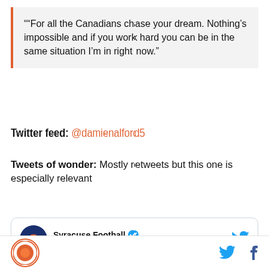""For all the Canadians chase your dream. Nothing's impossible and if you work hard you can be in the same situation I'm in right now."
Twitter feed: @damienalford5
Tweets of wonder: Mostly retweets but this one is especially relevant
[Figure (screenshot): Embedded tweet from Syracuse Football (@CuseFootball) with Follow button and Twitter bird logo. Text: We know a few guys celebrating today 😉]
SB Nation logo | Twitter bird icon | Facebook f icon